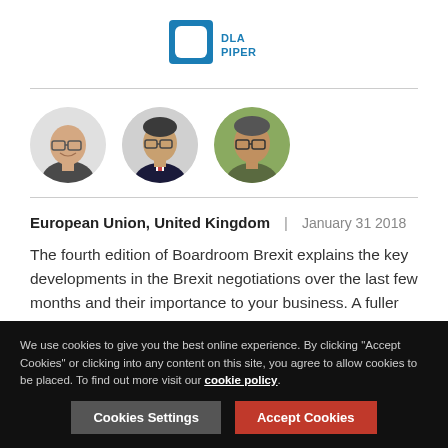[Figure (logo): DLA Piper logo - blue square with white rounded square cutout and DLA PIPER text in blue]
[Figure (photo): Three circular portrait photos of professional men, displayed in a row]
European Union, United Kingdom | January 31 2018
The fourth edition of Boardroom Brexit explains the key developments in the Brexit negotiations over the last few months and their importance to your business. A fuller analysis follows the summary below.
We use cookies to give you the best online experience. By clicking "Accept Cookies" or clicking into any content on this site, you agree to allow cookies to be placed. To find out more visit our cookie policy.